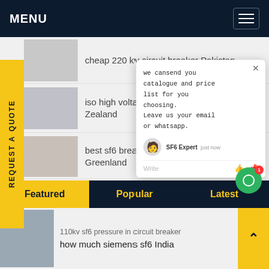MENU
cheap 220 kv circuit breaker Pakistan
iso high voltage sf6 circuit breaker New Zealand
best sf6 breaker gas pr... Greenland
Brochure sf 6 circuit bre...
Highly professional sf6 circuit breaker
[Figure (screenshot): Chat popup with message: we can send you catalogue and price list for you choosing. Leave us your email or whatsapp. SF6 Expert just now. Write input area.]
Featured
Popular
Latest
110kv sf6 pressure in circuit breaker
how much siemens sf6 India